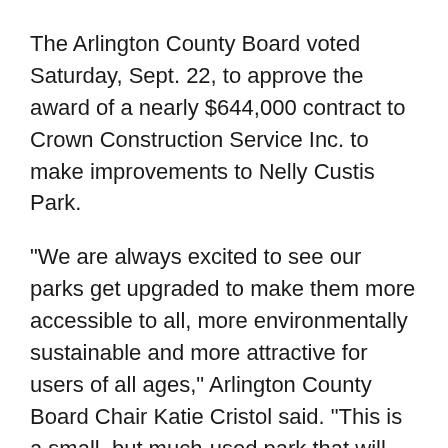The Arlington County Board voted Saturday, Sept. 22, to approve the award of a nearly $644,000 contract to Crown Construction Service Inc. to make improvements to Nelly Custis Park.
"We are always excited to see our parks get upgraded to make them more accessible to all, more environmentally sustainable and more attractive for users of all ages," Arlington County Board Chair Katie Cristol said. "This is a small, but much-used park that will greatly benefit from these planned improvements."
The Board voted unanimously, in adopting the Consent Agenda, to approve the contract.
The project will replace outdated play equipment in the existing playground with equipment that meets all ADA